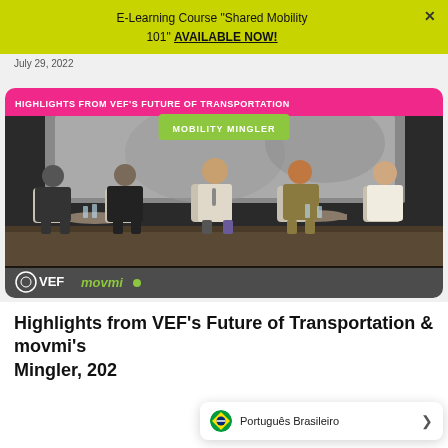E-Learning Course “Shared Mobility 101” AVAILABLE NOW!
July 29, 2022
[Figure (photo): Panel discussion photo with 5 panelists seated on stage with overlaid text labels: HIGHLIGHTS FROM VEF'S FUTURE OF TRANSPORTATION and MOBILITY MINGLER, with VEF and movmi logos at the bottom]
Highlights from VEF’s Future of Transportation & movmi’s Mingler, 202